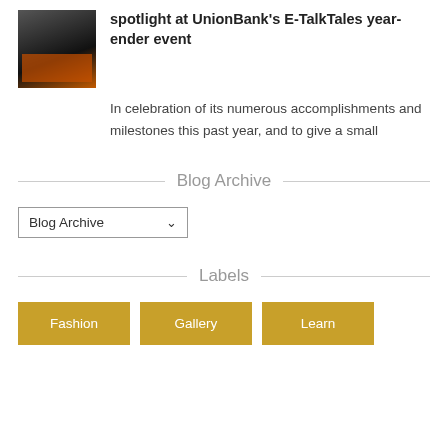[Figure (photo): A person in formal dark attire at an event, with a reddish-orange branded backdrop]
spotlight at UnionBank's E-TalkTales year-ender event
In celebration of its numerous accomplishments and milestones this past year, and to give a small
Blog Archive
Blog Archive
Labels
Fashion
Gallery
Learn